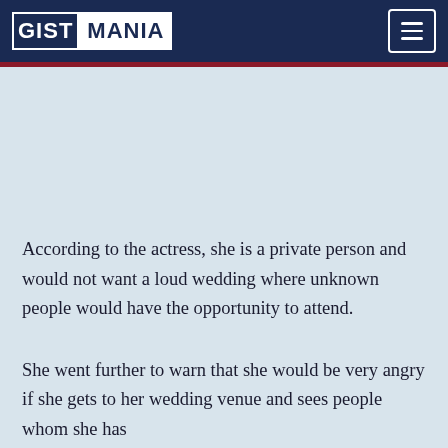GISTMANIA
According to the actress, she is a private person and would not want a loud wedding where unknown people would have the opportunity to attend.
She went further to warn that she would be very angry if she gets to her wedding venue and sees people whom she has